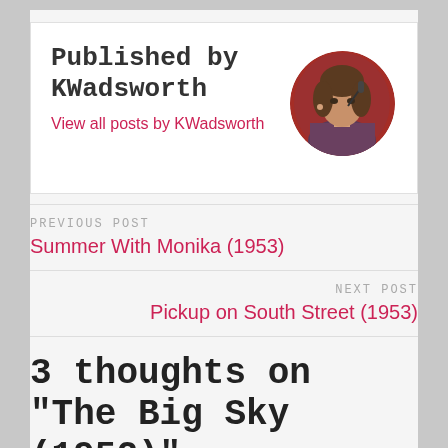Published by KWadsworth
View all posts by KWadsworth
[Figure (photo): Circular avatar photo of a woman with dark hair, sitting in front of a red background, wearing a plaid shirt]
PREVIOUS POST
Summer With Monika (1953)
NEXT POST
Pickup on South Street (1953)
3 thoughts on “The Big Sky (1952)”